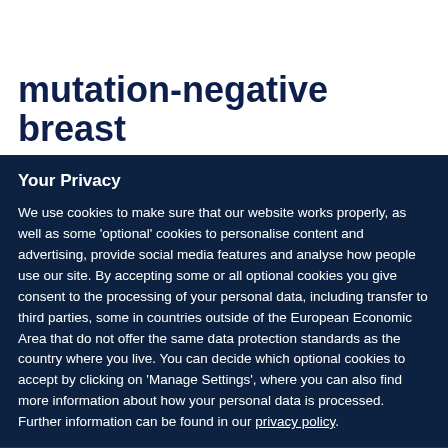mutation-negative breast
Your Privacy
We use cookies to make sure that our website works properly, as well as some 'optional' cookies to personalise content and advertising, provide social media features and analyse how people use our site. By accepting some or all optional cookies you give consent to the processing of your personal data, including transfer to third parties, some in countries outside of the European Economic Area that do not offer the same data protection standards as the country where you live. You can decide which optional cookies to accept by clicking on 'Manage Settings', where you can also find more information about how your personal data is processed. Further information can be found in our privacy policy.
Accept all cookies
Manage preferences